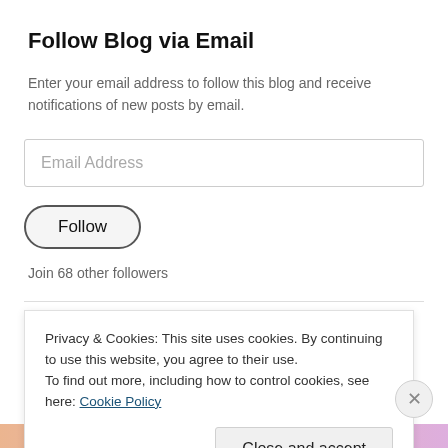Follow Blog via Email
Enter your email address to follow this blog and receive notifications of new posts by email.
Email Address
Follow
Join 68 other followers
Categories
Privacy & Cookies: This site uses cookies. By continuing to use this website, you agree to their use.
To find out more, including how to control cookies, see here: Cookie Policy
Close and accept